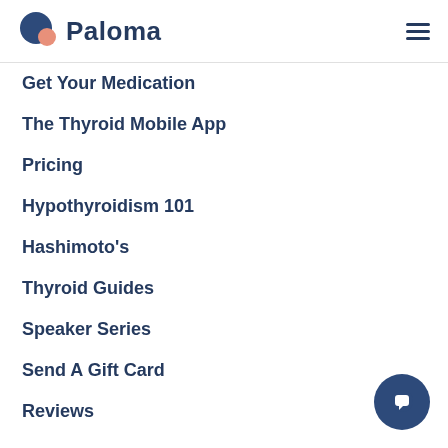[Figure (logo): Paloma Health logo with dark blue and peach circle icon and 'Paloma' wordmark]
Get Your Medication
The Thyroid Mobile App
Pricing
Hypothyroidism 101
Hashimoto's
Thyroid Guides
Speaker Series
Send A Gift Card
Reviews